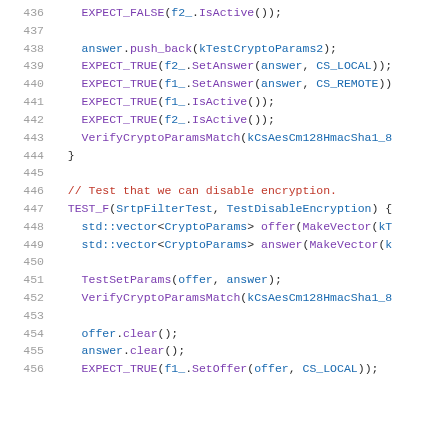[Figure (screenshot): Source code listing (C++) showing lines 436-456 of a test file with syntax highlighting. Purple for function/macro calls, blue for identifiers, red for comments, gray for line numbers.]